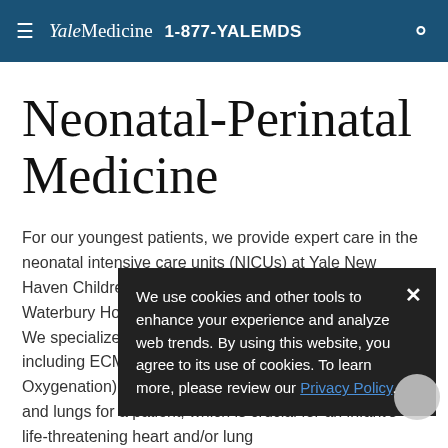Yale Medicine 1-877-YALEMDS
Neonatal-Perinatal Medicine
For our youngest patients, we provide expert care in the neonatal intensive care units (NICUs) at Yale New Haven Children's Hospital, Bridgeport Hospital, Waterbury Hospital, and Greenwich Memorial Hospital. We specialize in advanced and specialized treatments, including ECMO (Extracorporeal Membrane Oxygenation), a machine that acts as an artificial heart and lungs for a patient, which is crucial for an infant's life-threatening heart and/or lung
We use cookies and other tools to enhance your experience and analyze web trends. By using this website, you agree to its use of cookies. To learn more, please review our Privacy Policy.